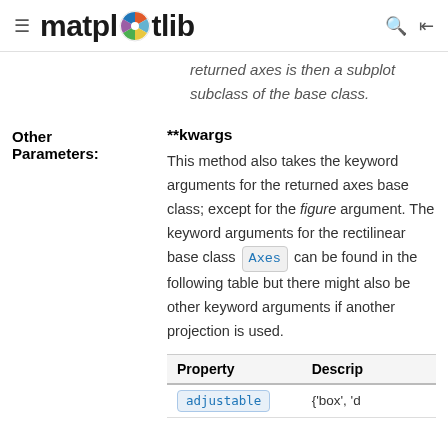matplotlib
returned axes is then a subplot subclass of the base class.
Other Parameters: **kwargs
This method also takes the keyword arguments for the returned axes base class; except for the figure argument. The keyword arguments for the rectilinear base class Axes can be found in the following table but there might also be other keyword arguments if another projection is used.
| Property | Descrip |
| --- | --- |
| adjustable | {'box', 'd |